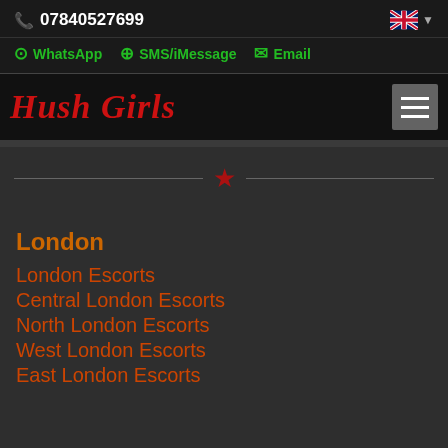07840527699
WhatsApp  SMS/iMessage  Email
Hush Girls
London
London Escorts
Central London Escorts
North London Escorts
West London Escorts
East London Escorts